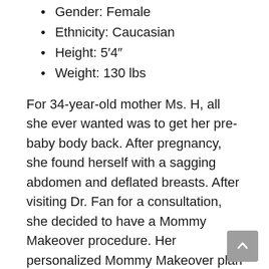Gender: Female
Ethnicity: Caucasian
Height: 5′4″
Weight: 130 lbs
For 34-year-old mother Ms. H, all she ever wanted was to get her pre-baby body back. After pregnancy, she found herself with a sagging abdomen and deflated breasts. After visiting Dr. Fan for a consultation, she decided to have a Mommy Makeover procedure. Her personalized Mommy Makeover plan included a tummy tuck with muscle repair, liposuction, and breast augmentation with 300cc silicone implants.
Case Study #6: Extended Tummy Tuck